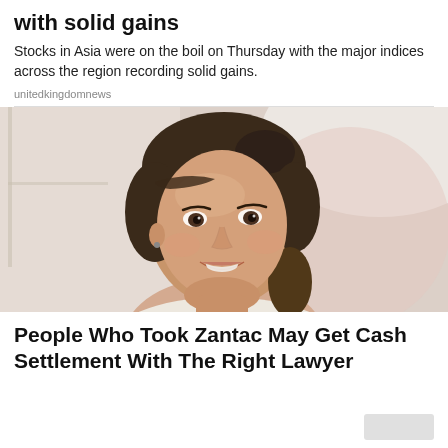with solid gains
Stocks in Asia were on the boil on Thursday with the major indices across the region recording solid gains.
unitedkingdomnews
[Figure (photo): A young smiling woman with dark hair pulled back, wearing a white top, photographed indoors with a blurred bright background.]
People Who Took Zantac May Get Cash Settlement With The Right Lawyer